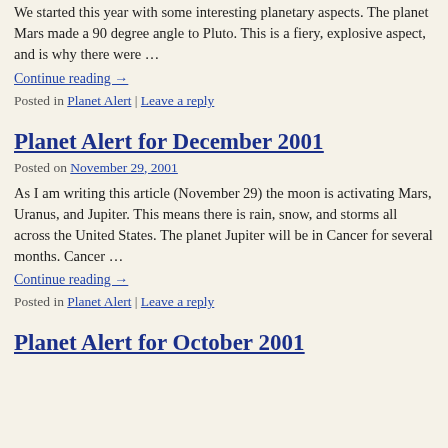We started this year with some interesting planetary aspects. The planet Mars made a 90 degree angle to Pluto. This is a fiery, explosive aspect, and is why there were …
Continue reading →
Posted in Planet Alert | Leave a reply
Planet Alert for December 2001
Posted on November 29, 2001
As I am writing this article (November 29) the moon is activating Mars, Uranus, and Jupiter. This means there is rain, snow, and storms all across the United States. The planet Jupiter will be in Cancer for several months. Cancer …
Continue reading →
Posted in Planet Alert | Leave a reply
Planet Alert for October 2001